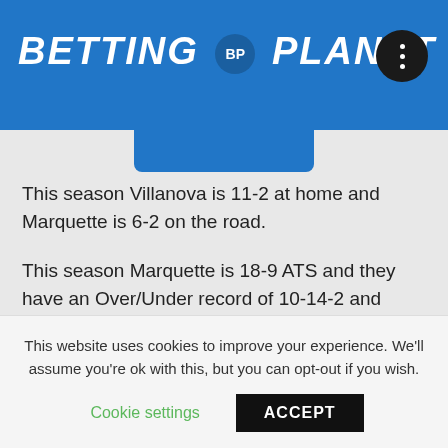BETTING BP PLANET
This season Villanova is 11-2 at home and Marquette is 6-2 on the road.
This season Marquette is 18-9 ATS and they have an Over/Under record of 10-14-2 and Villanova is at 17-11 ATS with an Over/Under record of 8-17-2.
The last season of away basketball Marquette has the...
This website uses cookies to improve your experience. We'll assume you're ok with this, but you can opt-out if you wish.